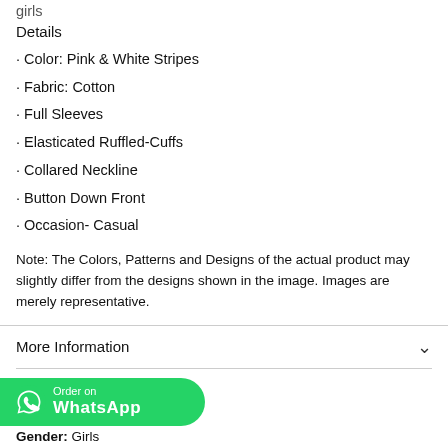girls
Details
• Color: Pink & White Stripes
• Fabric: Cotton
• Full Sleeves
• Elasticated Ruffled-Cuffs
• Collared Neckline
• Button Down Front
• Occasion- Casual
Note: The Colors, Patterns and Designs of the actual product may slightly differ from the designs shown in the image. Images are merely representative.
More Information
[Figure (logo): Order on WhatsApp green button with WhatsApp icon]
Gender: Girls